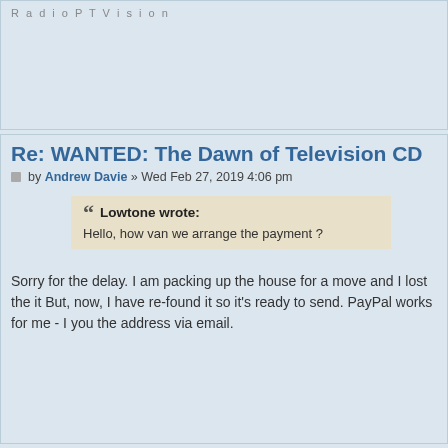RadioPTVision
Re: WANTED: The Dawn of Television CD
by Andrew Davie » Wed Feb 27, 2019 4:06 pm
Lowtone wrote:
Hello, how van we arrange the payment ?
Sorry for the delay. I am packing up the house for a move and I lost the it But, now, I have re-found it so it's ready to send. PayPal works for me - I you the address via email.